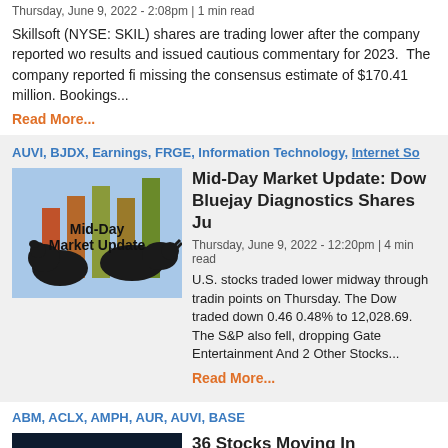Thursday, June 9, 2022 - 2:08pm | 1 min read
Skillsoft (NYSE: SKIL) shares are trading lower after the company reported wo results and issued cautious commentary for 2023. The company reported fi missing the consensus estimate of $170.41 million. Bookings...
Read More...
AUVI, BJDX, Earnings, FRGE, Information Technology, Internet So
Mid-Day Market Update: Dow Bluejay Diagnostics Shares Ju
Thursday, June 9, 2022 - 12:20pm | 4 min read
U.S. stocks traded lower midway through tradin points on Thursday. The Dow traded down 0.46 0.48% to 12,028.69. The S&P also fell, dropping Gate Entertainment And 2 Other Stocks...
Read More...
ABM, ACLX, AMPH, AUR, AUVI, BASE
36 Stocks Moving In Thursday'
Thursday, June 9, 2022 - 12:11pm | 6 min read